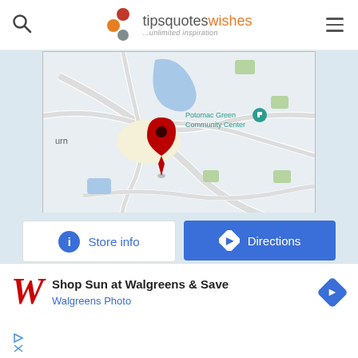tipsquoteswishes — ...unlimited inspiration
[Figure (map): Google Maps view showing Potomac Green Community Center location with a red map pin marker. The map shows roads, water features, and green areas around Ashburn, VA.]
Store info
Directions
[Figure (infographic): Walgreens advertisement banner: Shop Sun at Walgreens & Save — Walgreens Photo, with Walgreens W logo in red and a blue directions arrow icon.]